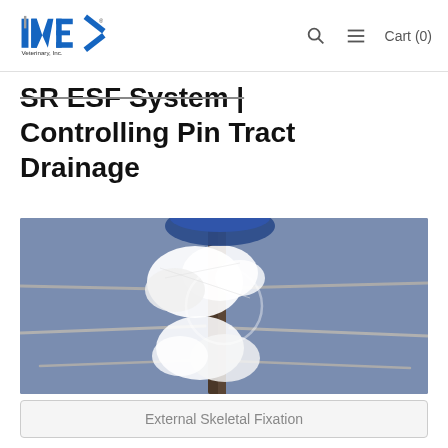[Figure (logo): IMEX Veterinary, Inc. logo with blue and gray lettering]
SR ESF System | Controlling Pin Tract Drainage
[Figure (photo): Close-up photo of external skeletal fixation pins with white gauze/bandaging material on a blue-gray background]
External Skeletal Fixation